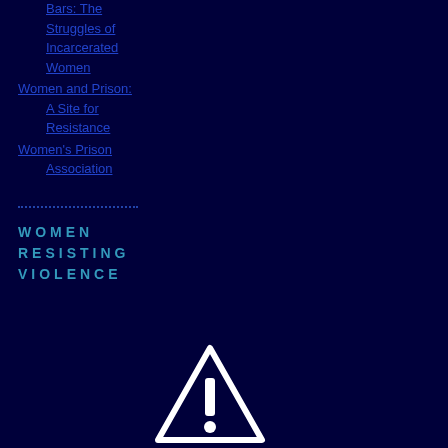Bars: The Struggles of Incarcerated Women
Women and Prison: A Site for Resistance
Women's Prison Association
WOMEN RESISTING VIOLENCE
[Figure (illustration): Warning/alert triangle icon with exclamation mark, white outline on dark navy background]